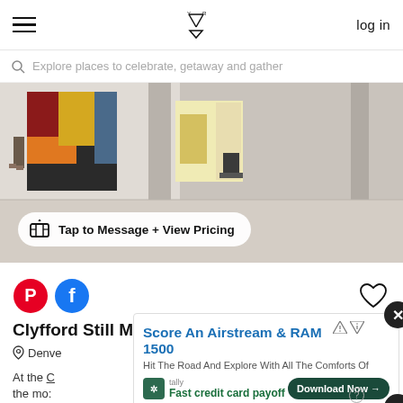Navigation bar with hamburger menu, logo, and log in link
Explore places to celebrate, getaway and gather
[Figure (photo): Interior of Clyfford Still Museum showing large abstract paintings on concrete walls with light wooden floor]
Tap to Message + View Pricing
[Figure (logo): Pinterest and Facebook social icons plus heart/save icon]
Clyfford Still Museum learn more →
Denver
At the C
[Figure (screenshot): Advertisement overlay: Score An Airstream & RAM 1500 - Hit The Road And Explore With All The Comforts Of. Tally Fast credit card payoff. Download Now button.]